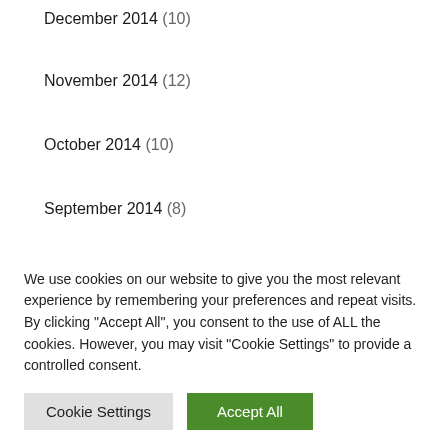December 2014 (10)
November 2014 (12)
October 2014 (10)
September 2014 (8)
August 2014 (16)
Categories
We use cookies on our website to give you the most relevant experience by remembering your preferences and repeat visits. By clicking "Accept All", you consent to the use of ALL the cookies. However, you may visit "Cookie Settings" to provide a controlled consent.